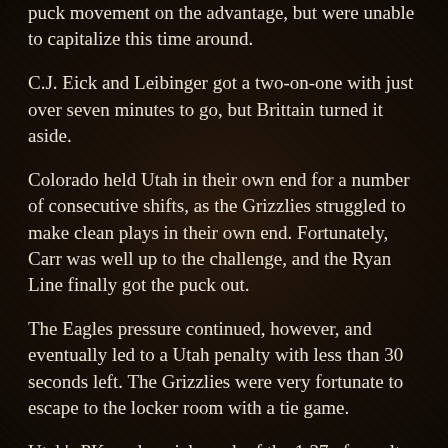puck movement on the advantage, but were unable to capitalize this time around.
C.J. Eick and Leibinger got a two-on-one with just over seven minutes to go, but Brittain turned it aside.
Colorado held Utah in their own end for a number of consecutive shifts, as the Grizzlies struggled to make clean plays in their own end. Fortunately, Carr was well up to the challenge, and the Ryan Line finally got the puck out.
The Eagles pressure continued, however, and eventually led to a Utah penalty with less than 30 seconds left. The Grizzlies were very fortunate to escape to the locker room with a tie game.
Utah's PK made quick work of the 1:37 of penalty time, and...